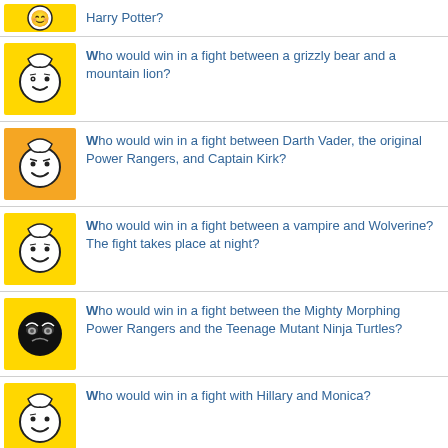Harry Potter?
Who would win in a fight between a grizzly bear and a mountain lion?
Who would win in a fight between Darth Vader, the original Power Rangers, and Captain Kirk?
Who would win in a fight between a vampire and Wolverine? The fight takes place at night?
Who would win in a fight between the Mighty Morphing Power Rangers and the Teenage Mutant Ninja Turtles?
Who would win in a fight with Hillary and Monica?